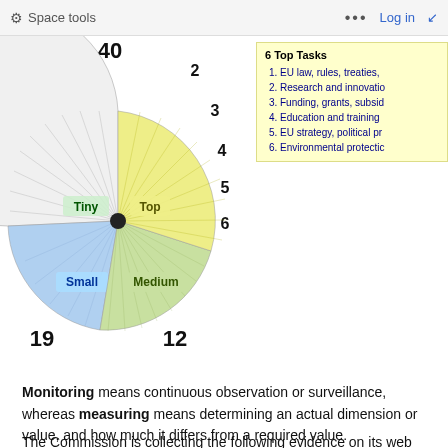Space tools  ...  Log in
[Figure (pie-chart): Pie chart with 4 segments: Top (yellow, small), Tiny (white/hatched, large), Small (blue, large), Medium (green, medium). Numbers around the outside: 40, 2, 3, 4, 5, 6, 12, 19.]
Monitoring means continuous observation or surveillance, whereas measuring means determining an actual dimension or value, and how much it differs from a required value.
The Commission is collecting the following evidence on its web presence: